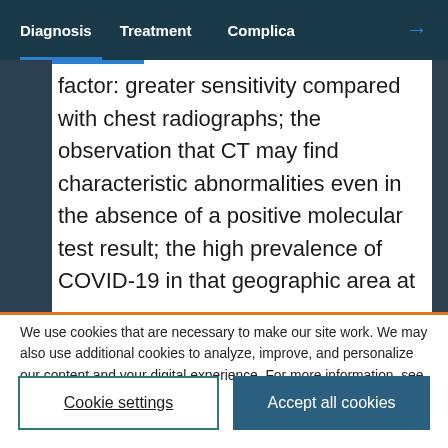Diagnosis  Treatment  Complica →
…factor: greater sensitivity compared with chest radiographs; the observation that CT may find characteristic abnormalities even in the absence of a positive molecular test result; the high prevalence of COVID-19 in that geographic area at
We use cookies that are necessary to make our site work. We may also use additional cookies to analyze, improve, and personalize our content and your digital experience. For more information, see our Cookie Policy
Cookie settings
Accept all cookies